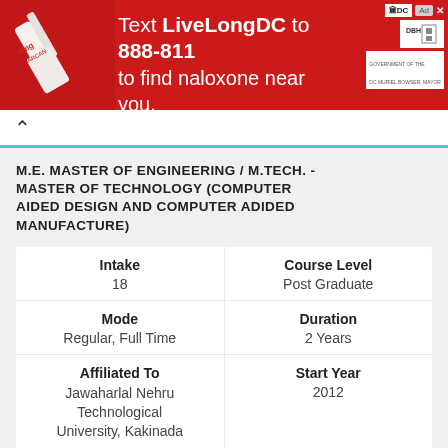[Figure (infographic): Red banner advertisement: Text LiveLongDC to 888-811 to find naloxone near you. DC government health department logos on right. Image of naloxone injection on left.]
M.E. MASTER OF ENGINEERING / M.TECH. - MASTER OF TECHNOLOGY (COMPUTER AIDED DESIGN AND COMPUTER ADIDED MANUFACTURE)
| Intake | Course Level |
| --- | --- |
| 18 | Post Graduate |
| Mode | Duration |
| Regular, Full Time | 2 Years |
| Affiliated To | Start Year |
| Jawaharlal Nehru Technological University, Kakinada | 2012 |
| Accreditation | Fee Structure |
| Not Eligible | ₹ 57,000 |